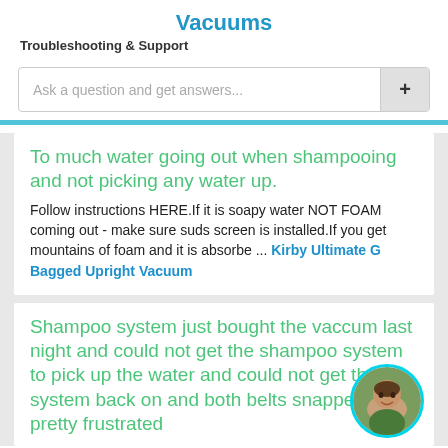Vacuums
Troubleshooting & Support
Ask a question and get answers...
To much water going out when shampooing and not picking any water up.
Follow instructions HERE.If it is soapy water NOT FOAM coming out - make sure suds screen is installed.If you get mountains of foam and it is absorbe ... Kirby Ultimate G Bagged Upright Vacuum
Shampoo system just bought the vaccum last night and could not get the shampoo system to pick up the water and could not get the system back on and both belts snapped so im pretty frustrated